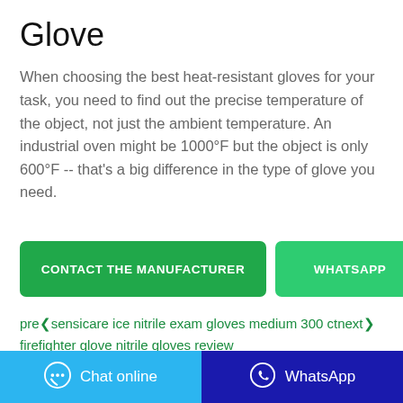Glove
When choosing the best heat-resistant gloves for your task, you need to find out the precise temperature of the object, not just the ambient temperature. An industrial oven might be 1000°F but the object is only 600°F -- that's a big difference in the type of glove you need.
CONTACT THE MANUFACTURER | WHATSAPP
pre❮sensicare ice nitrile exam gloves medium 300 ct next❯firefighter glove nitrile gloves review
Chat online | WhatsApp